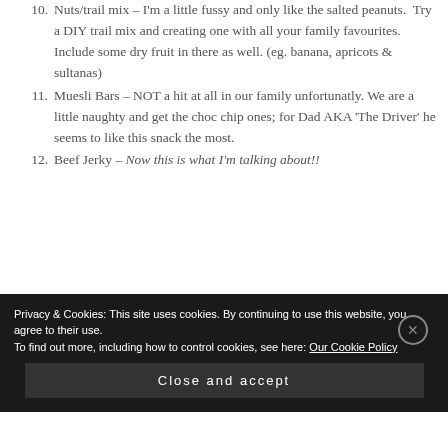10. Nuts/trail mix – I'm a little fussy and only like the salted peanuts.  Try a DIY trail mix and creating one with all your family favourites. Include some dry fruit in there as well. (eg. banana, apricots & sultanas)
11. Muesli Bars – NOT a hit at all in our family unfortunatly. We are a little naughty and get the choc chip ones; for Dad AKA 'The Driver' he seems to like this snack the most.
12. Beef Jerky – Now this is what I'm talking about!!
Privacy & Cookies: This site uses cookies. By continuing to use this website, you agree to their use. To find out more, including how to control cookies, see here: Our Cookie Policy
Close and accept